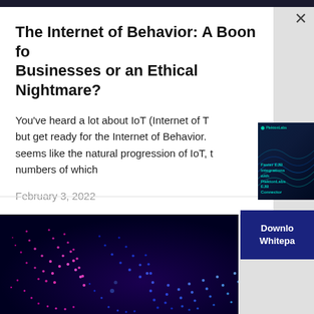The Internet of Behavior: A Boon for Businesses or an Ethical Nightmare?
You've heard a lot about IoT (Internet of Things), but get ready for the Internet of Behavior. It seems like the natural progression of IoT, the numbers of which
February 3, 2022
[Figure (screenshot): A whitepaper thumbnail showing 'Faster EJB Integrations with PlektonLabs EJB Connector' on dark background with teal wave graphics]
[Figure (illustration): Abstract digital art with pink/magenta and blue dotted spiral wave patterns on dark background, representing IoT/connectivity theme]